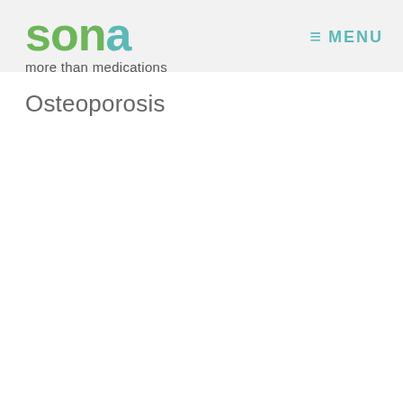[Figure (logo): Sona pharmacy logo with 'sona' in green/teal large text and tagline 'more than medications' below]
≡ MENU
Osteoporosis